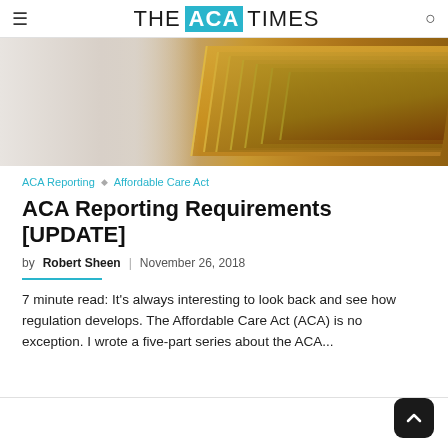THE ACA TIMES
[Figure (photo): Stack of manila file folders/documents, blurred background with office setting]
ACA Reporting  ◇  Affordable Care Act
ACA Reporting Requirements [UPDATE]
by Robert Sheen  |  November 26, 2018
7 minute read: It's always interesting to look back and see how regulation develops. The Affordable Care Act (ACA) is no exception. I wrote a five-part series about the ACA...